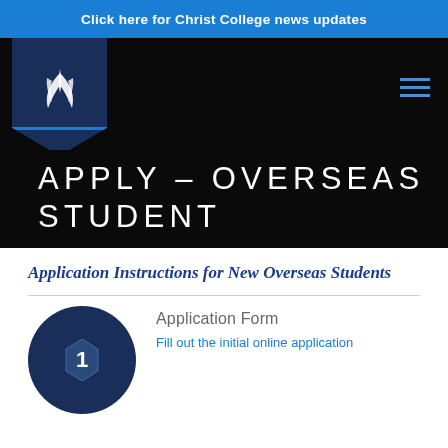Click here for Christ College news updates
[Figure (logo): Christ College shield logo with white flame/leaf emblem on dark navy background with blue accent stripe, plus hamburger menu icon on black navigation bar]
APPLY – OVERSEAS STUDENT
Application Instructions for New Overseas Students
[Figure (illustration): Dark navy blue circle icon representing step 1 of application process]
Application Form
Fill out the initial online application